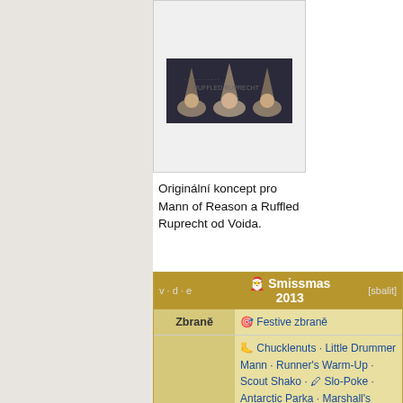[Figure (photo): Concept art showing three characters wearing grey pointed hoods in front of a dark background, original concept for Mann of Reason and Ruffled Ruprecht by Voida.]
Originální koncept pro Mann of Reason a Ruffled Ruprecht od Voida.
| v · d · e | Smissmas 2013 | [sbalit] |
| --- | --- | --- |
| Zbraně | 🎯 Festive zbraně |
|  | 🦶 Chucklenuts · Little Drummer Mann · Runner's Warm-Up · Scout Shako · 🖊 Slo-Poke · Antarctic Parka · Marshall's Mutton Chops · 🔥 Blizzard Breather · Trail Blazer · Tiny... |